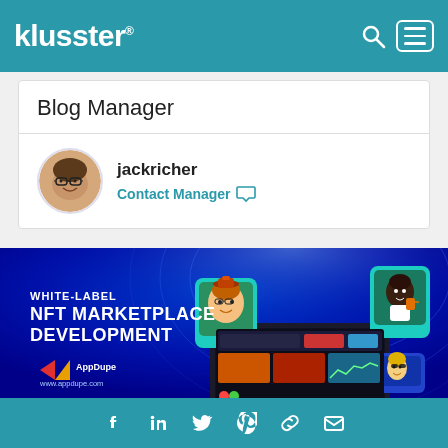klusster® [search icon] [menu icon]
Blog Manager
jackricher
Contact Manager
[Figure (screenshot): White-label NFT Marketplace Development promotional banner with blue background showing a monitor with NFT marketplace UI and cartoon character NFTs, AppDupe branding, www.appdupe.com]
Facebook LinkedIn Twitter Pinterest Link Mail icons